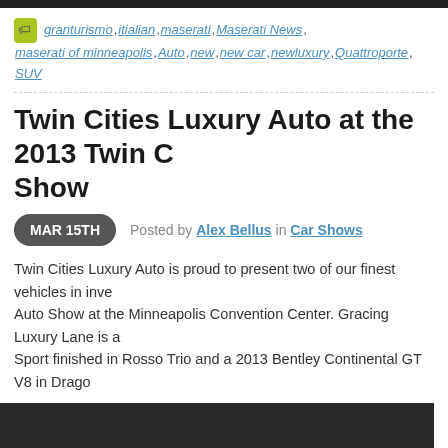granturismo, itialian, maserati, Maserati News, maserati of minneapolis, Auto, new, new car, newluxury, Quattroporte, SUV
Twin Cities Luxury Auto at the 2013 Twin Cities Auto Show
MAR 15TH   Posted by Alex Bellus in Car Shows
Twin Cities Luxury Auto is proud to present two of our finest vehicles in inventory at the 2013 Twin Cities Auto Show at the Minneapolis Convention Center. Gracing Luxury Lane is a 2013 Maserati GranTurismo Sport finished in Rosso Trio and a 2013 Bentley Continental GT V8 in Drago...
[Figure (screenshot): Video thumbnail showing 'Maserati and Bentley Arrive at the 2013 Twin Cities Auto Show' with logo circle containing diagonal lines and dark car background]